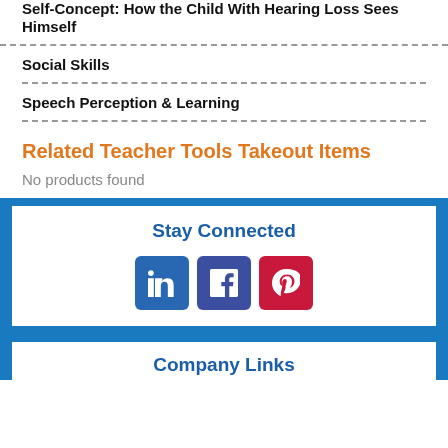Self-Concept: How the Child With Hearing Loss Sees Himself
Social Skills
Speech Perception & Learning
Related Teacher Tools Takeout Items
No products found
Stay Connected
[Figure (infographic): Three social media icon buttons: LinkedIn (blue), Facebook (dark blue/purple), Pinterest (red)]
Company Links